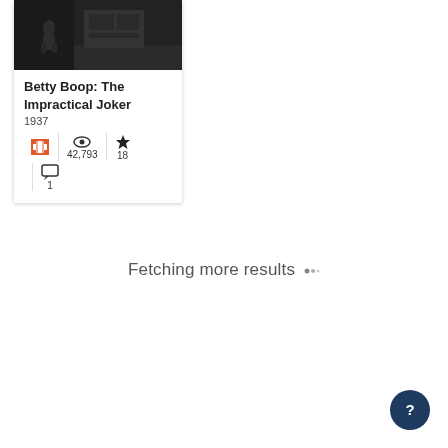[Figure (screenshot): Thumbnail image of Betty Boop animated film, dark grayscale scene]
Betty Boop: The Impractical Joker
1937
42,793 views, 18 favorites, 1 comment
Fetching more results…
[Figure (other): Help/question mark button, dark navy circle with ? icon]